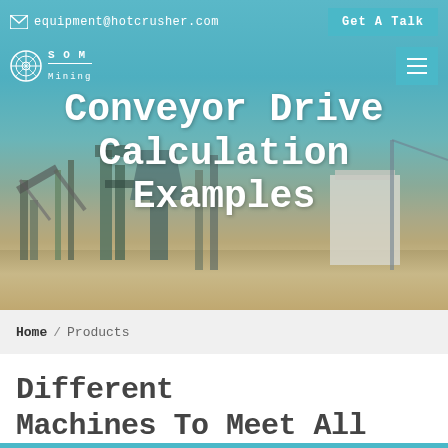equipment@hotcrusher.com  Get A Talk
[Figure (screenshot): Mining plant/conveyor equipment photo used as hero background image with teal/blue-gray tones]
Conveyor Drive Calculation Examples
Home / Products
Different Machines To Meet All Need